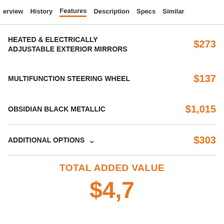erview  History  Features  Description  Specs  Similar
HEATED & ELECTRICALLY ADJUSTABLE EXTERIOR MIRRORS  $273
MULTIFUNCTION STEERING WHEEL  $137
OBSIDIAN BLACK METALLIC  $1,015
ADDITIONAL OPTIONS  $303
TOTAL ADDED VALUE
$1,7...